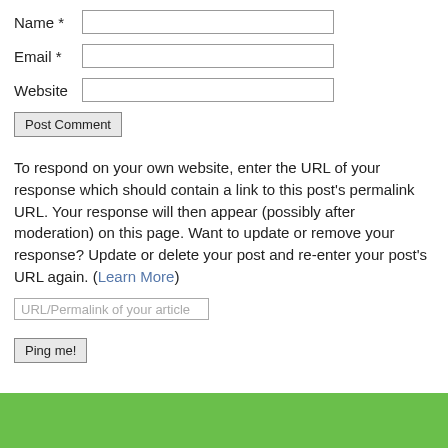Name *
Email *
Website
Post Comment
To respond on your own website, enter the URL of your response which should contain a link to this post's permalink URL. Your response will then appear (possibly after moderation) on this page. Want to update or remove your response? Update or delete your post and re-enter your post's URL again. (Learn More)
URL/Permalink of your article
Ping me!
[Figure (other): Green colored bar/footer area at the bottom of the page]